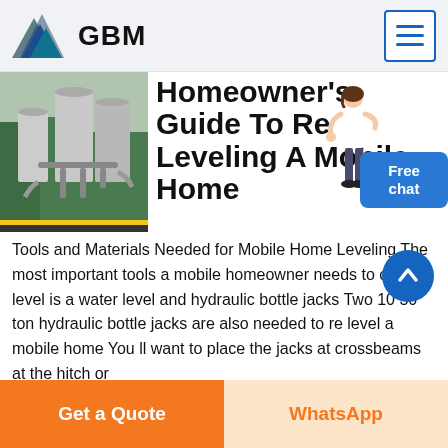GBM
Homeowner's Guide To Re Leveling A Mobile Home
[Figure (photo): Industrial facility with large storage tanks, pipes, and green trees in the background]
[Figure (photo): Woman in white outfit gesturing, overlaid on right side of title area]
Free chat
Tools and Materials Needed for Mobile Home Leveling The most important tools a mobile homeowner needs to check level is a water level and hydraulic bottle jacks Two 10 30 ton hydraulic bottle jacks are also needed to re level a mobile home You ll want to place the jacks at crossbeams at the hitch or
Get a Quote
WhatsApp